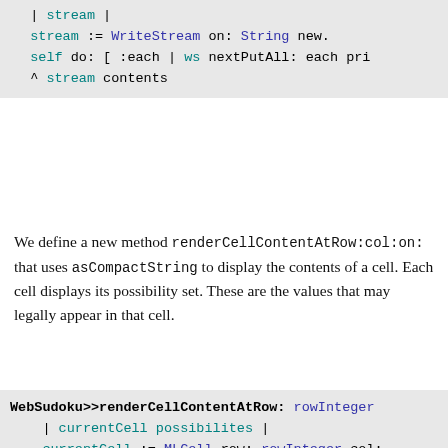[Figure (screenshot): Code block showing Smalltalk stream code: | stream | stream := WriteStream on: String new. self do: [ :each | ws nextPutAll: each pri ^ stream contents]
We define a new method renderCellContentAtRow:col:on: that uses asCompactString to display the contents of a cell. Each cell displays its possibility set. These are the values that may legally appear in that cell.
[Figure (screenshot): Code block showing Smalltalk method WebSudoku>>renderCellContentAtRow: rowInteger | currentCell possibilites | currentCell := MLCell row: rowInteger col: possibilites := sudoku possibilitiesAt: cu possibilites numberOfPossibilities = 1 ifTrue: [ html text: possibilites asCo ifFalse: []